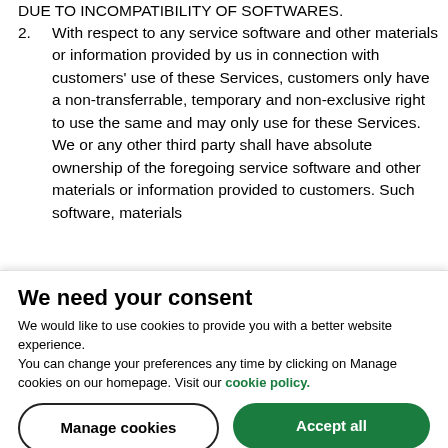DUE TO INCOMPATIBILITY OF SOFTWARES.
2. With respect to any service software and other materials or information provided by us in connection with customers' use of these Services, customers only have a non-transferrable, temporary and non-exclusive right to use the same and may only use for these Services. We or any other third party shall have absolute ownership of the foregoing service software and other materials or information provided to customers. Such software, materials
We need your consent
We would like to use cookies to provide you with a better website experience.
You can change your preferences any time by clicking on Manage cookies on our homepage. Visit our cookie policy.